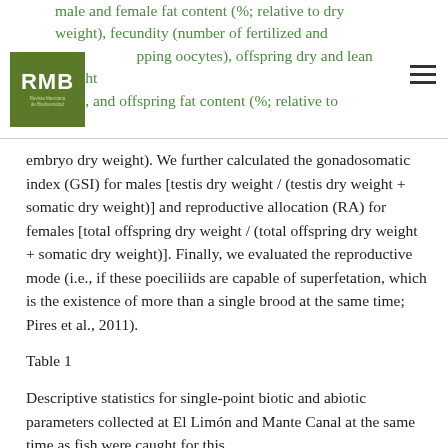male and female fat content (%; relative to dry weight), fecundity (number of fertilized and developing oocytes), offspring dry and lean weight (mg), and offspring fat content (%; relative to embryo dry weight).
We further calculated the gonadosomatic index (GSI) for males [testis dry weight / (testis dry weight + somatic dry weight)] and reproductive allocation (RA) for females [total offspring dry weight / (total offspring dry weight + somatic dry weight)]. Finally, we evaluated the reproductive mode (i.e., if these poeciliids are capable of superfetation, which is the existence of more than a single brood at the same time; Pires et al., 2011).
Table 1
Descriptive statistics for single-point biotic and abiotic parameters collected at El Limón and Mante Canal at the same time as fish were caught for this